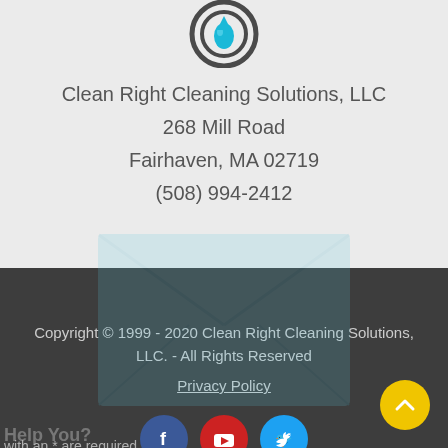[Figure (logo): Circular water drop logo with concentric rings in teal/dark color]
Clean Right Cleaning Solutions, LLC
268 Mill Road
Fairhaven, MA 02719
(508) 994-2412
with an * are required
[Figure (illustration): Three social media icons: Facebook (dark blue circle), YouTube (red circle), Twitter (light blue circle)]
[Figure (illustration): Semi-transparent envelope watermark graphic]
Copyright © 1999 - 2020 Clean Right Cleaning Solutions, LLC. - All Rights Reserved
Privacy Policy
[Figure (illustration): Yellow circular scroll-to-top button with upward chevron arrow]
Help You?